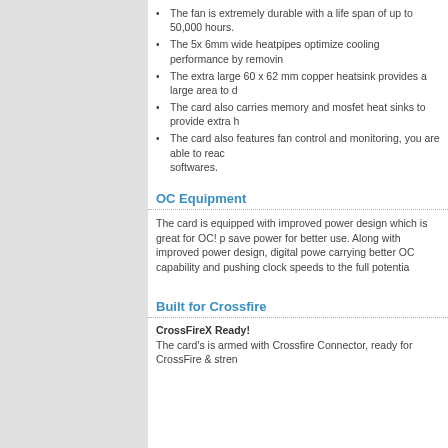The fan is extremely durable with a life span of up to 50,000 hours.
The 5x 6mm wide heatpipes optimize cooling performance by removin
The extra large 60 x 62 mm copper heatsink provides a large area to d
The card also carries memory and mosfet heat sinks to provide extra h
The card also features fan control and monitoring, you are able to reac softwares.
OC Equipment
The card is equipped with improved power design which is great for OC! save power for better use. Along with improved power design, digital pow carrying better OC capability and pushing clock speeds to the full potentia
Built for Crossfire
CrossFireX Ready!
The card's is armed with Crossfire Connector, ready for CrossFire & stren